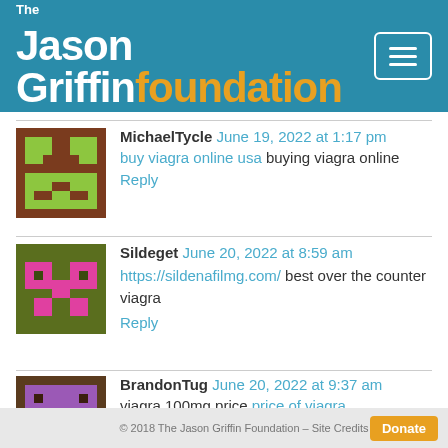The Jason Griffin Foundation
MichaelTycle June 19, 2022 at 1:17 pm — buy viagra online usa buying viagra online — Reply
Sildeget June 20, 2022 at 8:59 am — https://sildenafilmg.com/ best over the counter viagra — Reply
BrandonTug June 20, 2022 at 9:37 am — viagra 100mg price price of viagra — Reply
© 2018 The Jason Griffin Foundation – Site Credits